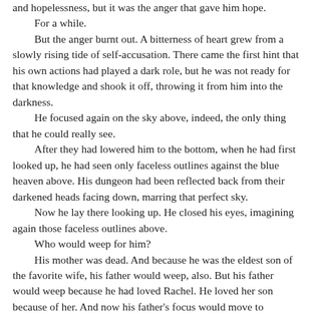and hopelessness, but it was the anger that gave him hope. For a while.

But the anger burnt out. A bitterness of heart grew from a slowly rising tide of self-accusation. There came the first hint that his own actions had played a dark role, but he was not ready for that knowledge and shook it off, throwing it from him into the darkness. He focused again on the sky above, indeed, the only thing that he could really see. After they had lowered him to the bottom, when he had first looked up, he had seen only faceless outlines against the blue heaven above. His dungeon had been reflected back from their darkened heads facing down, marring that perfect sky. Now he lay there looking up. He closed his eyes, imagining again those faceless outlines above. Who would weep for him? His mother was dead. And because he was the eldest son of the favorite wife, his father would weep, also. But his father would weep because he had loved Rachel. He loved her son because of her. And now his father's focus would move to Rachel's last son, her only other son, the son that was the intersection of her life and death, the child